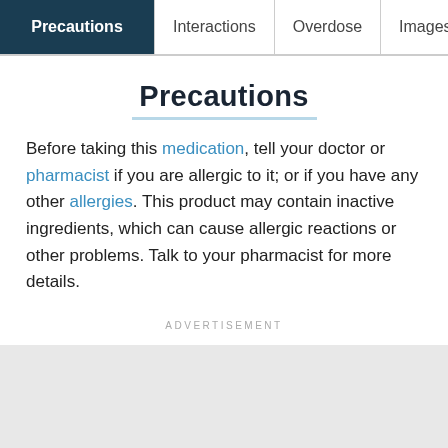Precautions | Interactions | Overdose | Images
Precautions
Before taking this medication, tell your doctor or pharmacist if you are allergic to it; or if you have any other allergies. This product may contain inactive ingredients, which can cause allergic reactions or other problems. Talk to your pharmacist for more details.
ADVERTISEMENT